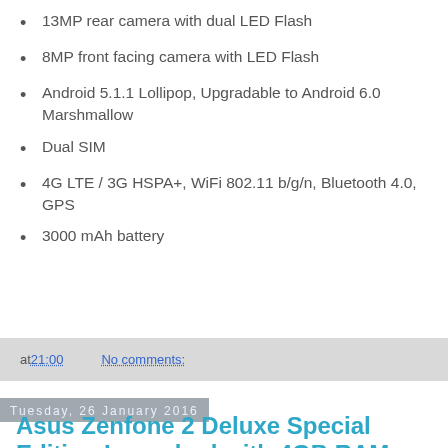13MP rear camera with dual LED Flash
8MP front facing camera with LED Flash
Android 5.1.1 Lollipop, Upgradable to Android 6.0 Marshmallow
Dual SIM
4G LTE / 3G HSPA+, WiFi 802.11 b/g/n, Bluetooth 4.0, GPS
3000 mAh battery
at 21:00   No comments:
Tuesday, 26 January 2016
Asus Zenfone 2 Deluxe Special Edition Launched with 4GB RAM, Intel Z3590 Processor
Asus has revealed another variant of ZenFone 2